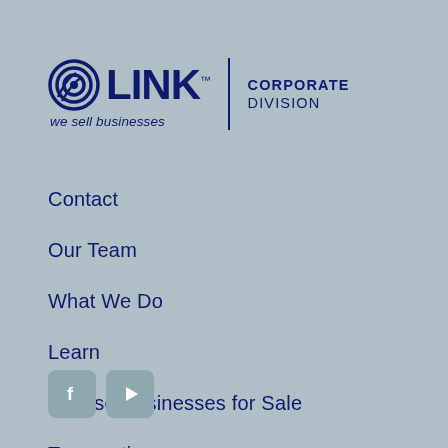[Figure (logo): LINK Corporate Division logo with concentric circles icon, 'LINK' bold text with TM mark, tagline 'we sell businesses', vertical divider, and 'CORPORATE DIVISION' text]
Contact
Our Team
What We Do
Learn
Browse Businesses for Sale
Transactions
[Figure (other): Social media icons: Facebook (f) and YouTube (play button) in square rounded buttons]